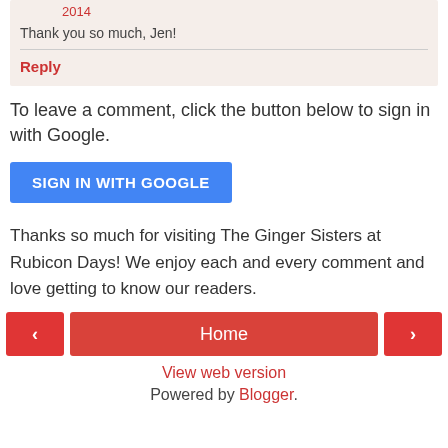2014
Thank you so much, Jen!
Reply
To leave a comment, click the button below to sign in with Google.
SIGN IN WITH GOOGLE
Thanks so much for visiting The Ginger Sisters at Rubicon Days! We enjoy each and every comment and love getting to know our readers.
Home
View web version
Powered by Blogger.